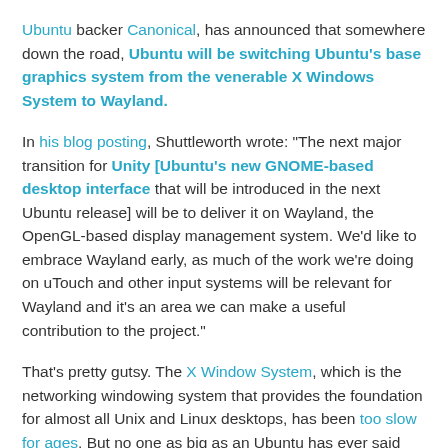Ubuntu backer Canonical, has announced that somewhere down the road, Ubuntu will be switching Ubuntu's base graphics system from the venerable X Windows System to Wayland.
In his blog posting, Shuttleworth wrote: "The next major transition for Unity [Ubuntu's new GNOME-based desktop interface that will be introduced in the next Ubuntu release] will be to deliver it on Wayland, the OpenGL-based display management system. We'd like to embrace Wayland early, as much of the work we're doing on uTouch and other input systems will be relevant for Wayland and it's an area we can make a useful contribution to the project."
That's pretty gutsy. The X Window System, which is the networking windowing system that provides the foundation for almost all Unix and Linux desktops, has been too slow for ages. But no one as big as an Ubuntu has ever said that they were willing to replace X with another windowing